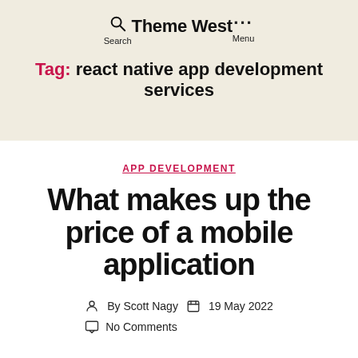Theme West
Tag: react native app development services
APP DEVELOPMENT
What makes up the price of a mobile application
By Scott Nagy  19 May 2022  No Comments